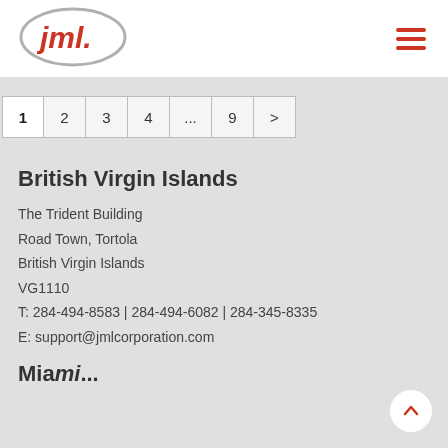[Figure (logo): JML corporation logo — red italic 'jml.' text inside a grey oval ellipse]
Navigation hamburger menu icon (three red horizontal lines)
Pagination: 1 2 3 4 ... 9 >
British Virgin Islands
The Trident Building
Road Town, Tortola
British Virgin Islands
VG1110
T: 284-494-8583 | 284-494-6082 | 284-345-8335
E: support@jmlcorporation.com
Mia...